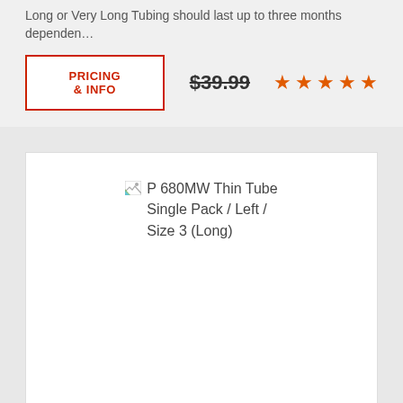Long or Very Long Tubing should last up to three months dependen…
PRICING & INFO
$39.99
[Figure (other): Broken image placeholder for P 680MW Thin Tube Single Pack / Left / Size 3 (Long)]
P 680MW THIN TUBE SINGLE PACK / LEFT / SIZE 3 (LONG)